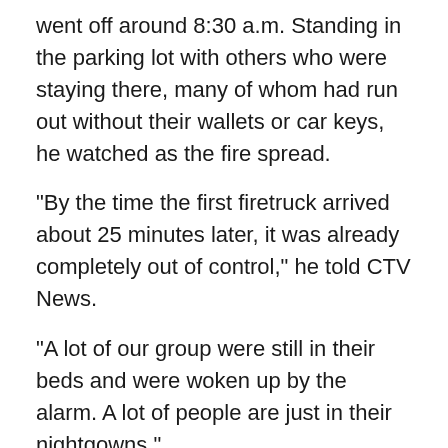went off around 8:30 a.m. Standing in the parking lot with others who were staying there, many of whom had run out without their wallets or car keys, he watched as the fire spread.
"By the time the first firetruck arrived about 25 minutes later, it was already completely out of control," he told CTV News.
"A lot of our group were still in their beds and were woken up by the alarm. A lot of people are just in their nightgowns."
The guests were taken to the nearby band hall, where they were offered food and water and connected with emergency services to find some place to stay while crews continue to fight the fire.